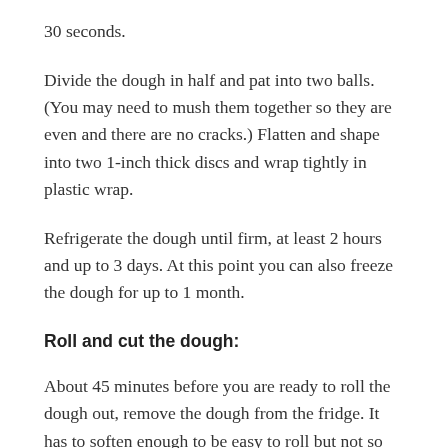30 seconds.
Divide the dough in half and pat into two balls. (You may need to mush them together so they are even and there are no cracks.) Flatten and shape into two 1-inch thick discs and wrap tightly in plastic wrap.
Refrigerate the dough until firm, at least 2 hours and up to 3 days. At this point you can also freeze the dough for up to 1 month.
Roll and cut the dough:
About 45 minutes before you are ready to roll the dough out, remove the dough from the fridge. It has to soften enough to be easy to roll but not so much that it gets too soft and starts to stick to the countertop. Check the dough every 10 minutes or so, when it feels just pliable, it's ready